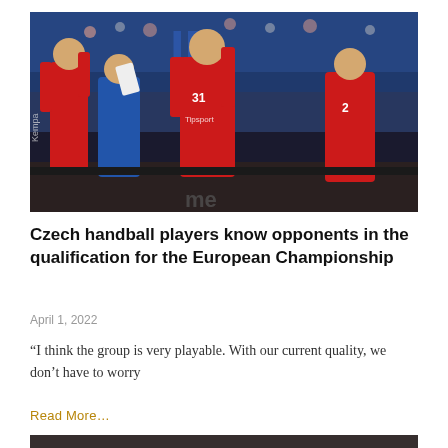[Figure (photo): Czech handball players in red uniforms celebrating on the sideline, raising fists and arms, with coaching staff in red jackets, spectators visible in background]
Czech handball players know opponents in the qualification for the European Championship
April 1, 2022
“I think the group is very playable. With our current quality, we don’t have to worry
Read More…
[Figure (photo): Partial view of another sports photo at bottom of page]